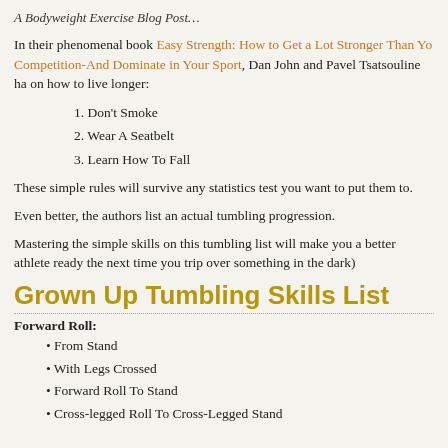A Bodyweight Exercise Blog Post…
In their phenomenal book Easy Strength: How to Get a Lot Stronger Than Yo Competition-And Dominate in Your Sport, Dan John and Pavel Tsatsouline ha on how to live longer:
1. Don't Smoke
2. Wear A Seatbelt
3. Learn How To Fall
These simple rules will survive any statistics test you want to put them to.
Even better, the authors list an actual tumbling progression.
Mastering the simple skills on this tumbling list will make you a better athlete ready the next time you trip over something in the dark)
Grown Up Tumbling Skills List
Forward Roll:
From Stand
With Legs Crossed
Forward Roll To Stand
Cross-legged Roll To Cross-Legged Stand